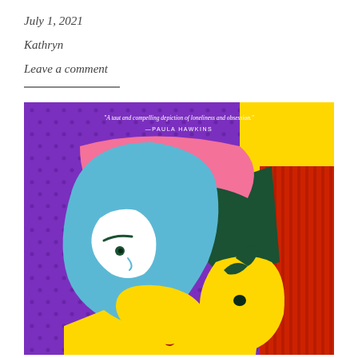July 1, 2021
Kathryn
Leave a comment
[Figure (illustration): Book cover illustration in pop-art style showing a stylized woman's face with blue hair against a purple dotted background, with yellow, pink, red, and dark green geometric color blocks. Text reads: 'A taut and compelling depiction of loneliness and obsession.' —PAULA HAWKINS]